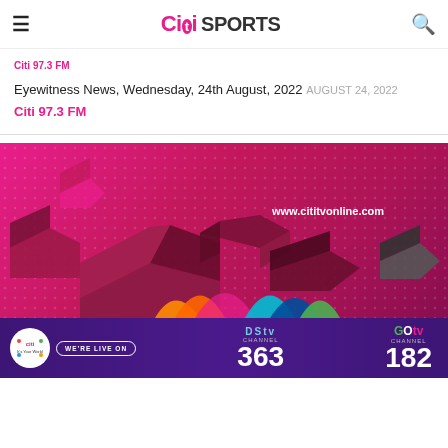Citi SPORTS
Citi 97.3 FM
Eyewitness News, Wednesday, 24th August, 2022 AUGUST 24, 2022
Citi 97.3 FM
[Figure (photo): Citi TV promotional banner with magenta background, 3D hexagon shapes, and www.cititvonline.com URL text]
[Figure (infographic): DStv Channel 363 and GOtv Channel 182 banner on purple background with Citi TV logo and 'We're Live On' badge]